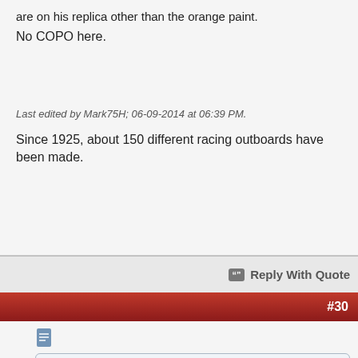are on his replica other than the orange paint.
No COPO here.
Last edited by Mark75H; 06-09-2014 at 06:39 PM.
Since 1925, about 150 different racing outboards have been made.
Reply With Quote
#30
Originally Posted by Mark75H
,,No COPO here.
OK, I will bite, what is a COPO ? 😉